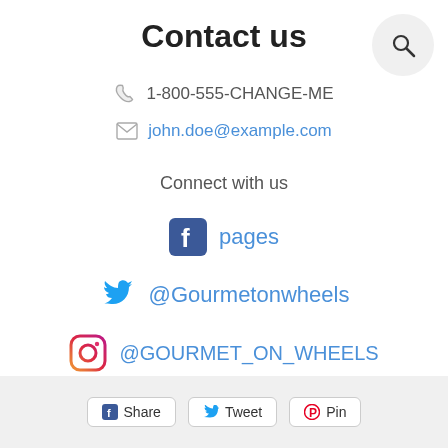Contact us
1-800-555-CHANGE-ME
john.doe@example.com
Connect with us
pages
@Gourmetonwheels
@GOURMET_ON_WHEELS
Share  Tweet  Pin